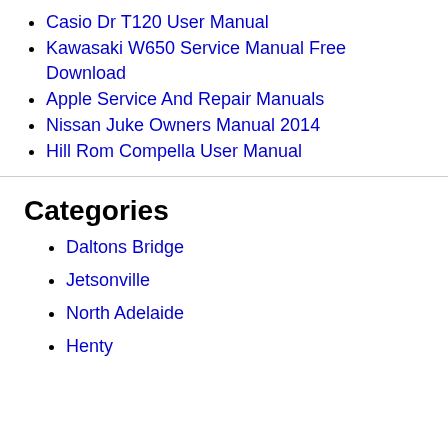Casio Dr T120 User Manual
Kawasaki W650 Service Manual Free Download
Apple Service And Repair Manuals
Nissan Juke Owners Manual 2014
Hill Rom Compella User Manual
Categories
Daltons Bridge
Jetsonville
North Adelaide
Henty